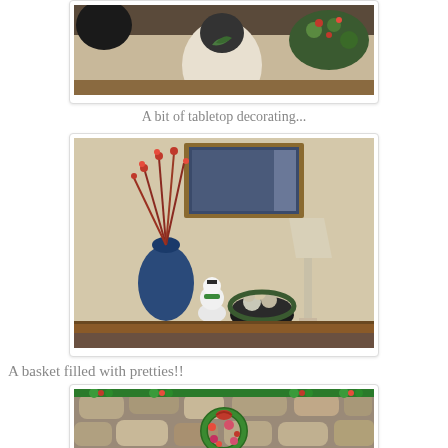[Figure (photo): Partial view of a Christmas tabletop decoration — top portion showing a white Santa or snowman figurine and wreath with holiday greenery, cropped at top.]
A bit of tabletop decorating...
[Figure (photo): Indoor photo of a tabletop Christmas display on a wooden console table: a blue vase with red berry branches, a white snowman figurine, a bowl with ornaments, and a lamp with a decorated shade. A framed picture is on the wall behind.]
A basket filled with pretties!!
[Figure (photo): Partial view of a stone fireplace decorated with Christmas greenery border and a holiday wreath with red bow in the center.]